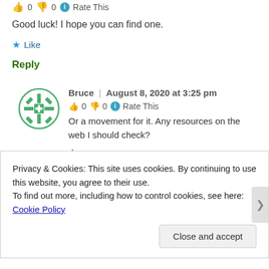👍 0 👎 0 ℹ Rate This
Good luck! I hope you can find one.
★ Like
Reply
[Figure (illustration): Circular green snowflake/quilt pattern avatar icon with white border]
Bruce | August 8, 2020 at 3:25 pm
👍 0 👎 0 ℹ Rate This
Or a movement for it. Any resources on the web I should check?
★ Like (partially visible)
Privacy & Cookies: This site uses cookies. By continuing to use this website, you agree to their use.
To find out more, including how to control cookies, see here: Cookie Policy
Close and accept